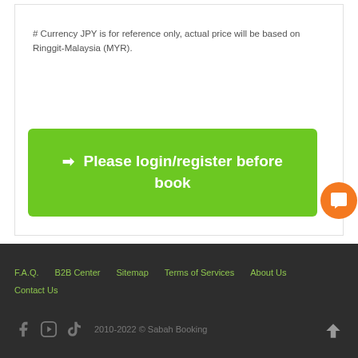# Currency JPY is for reference only, actual price will be based on Ringgit-Malaysia (MYR).
➡ Please login/register before book
F.A.Q.   B2B Center   Sitemap   Terms of Services   About Us   Contact Us   2010-2022 © Sabah Booking